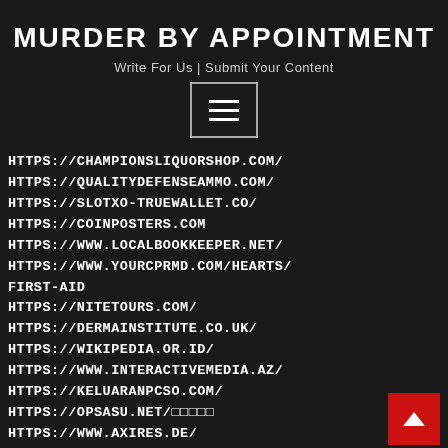MURDER BY APPOINTMENT
Write For Us | Submit Your Content
[Figure (other): Hamburger menu button with three horizontal lines, bordered rectangle]
HTTPS://CHAMPIONSLIQUORSHOP.COM/
HTTPS://QUALITYDEFENSEAMMO.COM/
HTTPS://SLOTXO-TRUEWALLET.CO/
HTTPS://COINPOSTERS.COM
HTTPS://WWW.LOCALBOOKKEEPER.NET/
HTTPS://WWW.YOURCPRMD.COM/HEARTS/FIRST-AID
HTTPS://NITETOURS.COM/
HTTPS://DERMAINSTITUTE.CO.UK/
HTTPS://WIKIPEDIA.OR.ID/
HTTPS://WWW.INTERACTIVEMEDIA.AZ/
HTTPS://KELUARANPCSO.COM/
HTTPS://OPSASU.NET/
HTTPS://WWW.AXIRES.DE/